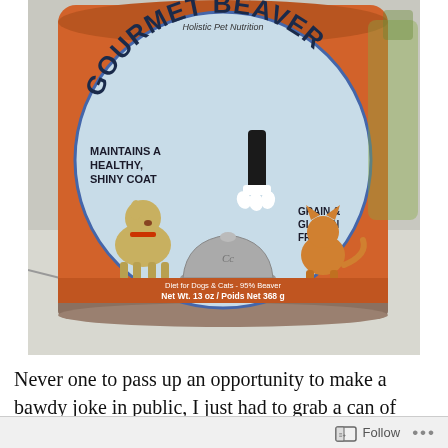[Figure (photo): Photo of an orange can of pet food labeled 'Gourmet Beaver' by Holistic Pet Nutrition. The can label shows a blue oval with illustrations of a dog and cat with a silver serving cloche between them, a gloved hand offering food, text reading 'MAINTAINS A HEALTHY, SHINY COAT', 'GRAIN & GLUTEN FREE!', 'Diet for Dogs & Cats - 95% Beaver', and 'Net Wt. 13 oz / Poids Net 368 g'. The can sits on a white surface.]
Never one to pass up an opportunity to make a bawdy joke in public, I just had to grab a can of this stuff when I